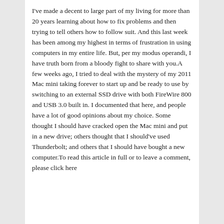I've made a decent to large part of my living for more than 20 years learning about how to fix problems and then trying to tell others how to follow suit. And this last week has been among my highest in terms of frustration in using computers in my entire life. But, per my modus operandi, I have truth born from a bloody fight to share with you.A few weeks ago, I tried to deal with the mystery of my 2011 Mac mini taking forever to start up and be ready to use by switching to an external SSD drive with both FireWire 800 and USB 3.0 built in. I documented that here, and people have a lot of good opinions about my choice. Some thought I should have cracked open the Mac mini and put in a new drive; others thought that I should've used Thunderbolt; and others that I should have bought a new computer.To read this article in full or to leave a comment, please click here